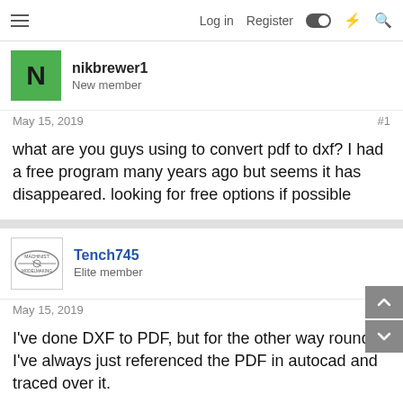Log in  Register
nikbrewer1
New member
May 15, 2019  #1
what are you guys using to convert pdf to dxf? I had a free program many years ago but seems it has disappeared. looking for free options if possible
Tench745
Elite member
May 15, 2019  #2
I've done DXF to PDF, but for the other way round I've always just referenced the PDF in autocad and traced over it.